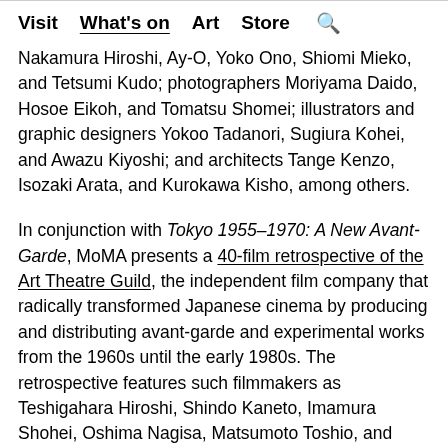Visit  What's on  Art  Store  🔍
Nakamura Hiroshi, Ay-O, Yoko Ono, Shiomi Mieko, and Tetsumi Kudo; photographers Moriyama Daido, Hosoe Eikoh, and Tomatsu Shomei; illustrators and graphic designers Yokoo Tadanori, Sugiura Kohei, and Awazu Kiyoshi; and architects Tange Kenzo, Isozaki Arata, and Kurokawa Kisho, among others.
In conjunction with Tokyo 1955–1970: A New Avant-Garde, MoMA presents a 40-film retrospective of the Art Theatre Guild, the independent film company that radically transformed Japanese cinema by producing and distributing avant-garde and experimental works from the 1960s until the early 1980s. The retrospective features such filmmakers as Teshigahara Hiroshi, Shindo Kaneto, Imamura Shohei, Oshima Nagisa, Matsumoto Toshio, and Wakamatsu Koji. This exhibition runs